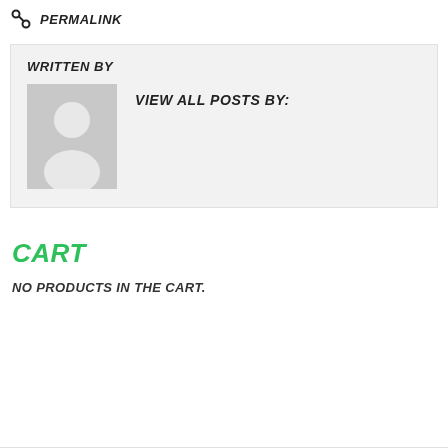PERMALINK
WRITTEN BY
[Figure (photo): Default avatar placeholder image with silhouette of a person on gray background]
VIEW ALL POSTS BY:
CART
NO PRODUCTS IN THE CART.